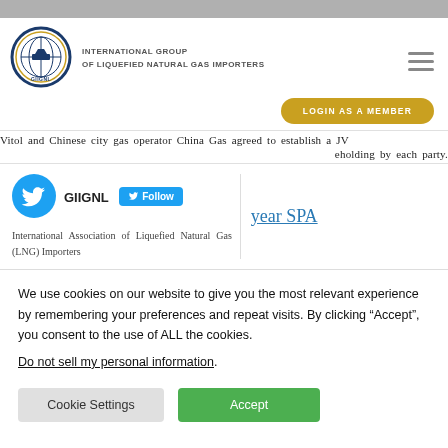[Figure (logo): GIIGNL - International Group of Liquefied Natural Gas Importers circular logo with ship/globe motif]
INTERNATIONAL GROUP OF LIQUEFIED NATURAL GAS IMPORTERS
LOGIN AS A MEMBER
Vitol and Chinese city gas operator China Gas agreed to establish a JV
eholding by each party.
[Figure (logo): Twitter bird icon in blue circle]
GIIGNL Follow
year SPA
International Association of Liquefied Natural Gas (LNG) Importers
We use cookies on our website to give you the most relevant experience by remembering your preferences and repeat visits. By clicking “Accept”, you consent to the use of ALL the cookies.
Do not sell my personal information.
Cookie Settings
Accept